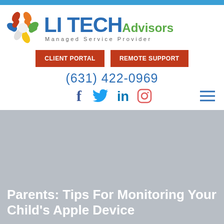[Figure (logo): LI Tech Advisors logo with colorful hands graphic and text 'LI TECH Advisors Managed Service Provider']
CLIENT PORTAL
REMOTE SUPPORT
(631) 422-0969
[Figure (other): Social media icons: Facebook, Twitter, LinkedIn, Instagram, and hamburger menu icon]
Parents: Tips For Monitoring Your Child's Apple Device